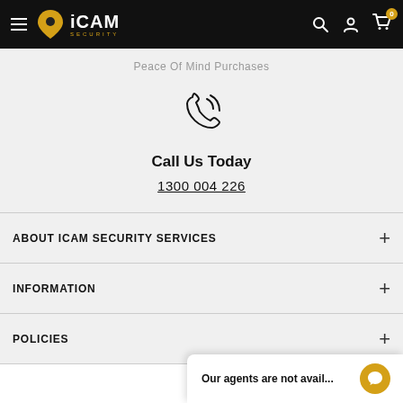iCAM SECURITY
Peace Of Mind Purchases
[Figure (illustration): Phone ringing icon with signal waves]
Call Us Today
1300 004 226
ABOUT ICAM SECURITY SERVICES
INFORMATION
POLICIES
Our agents are not avail...